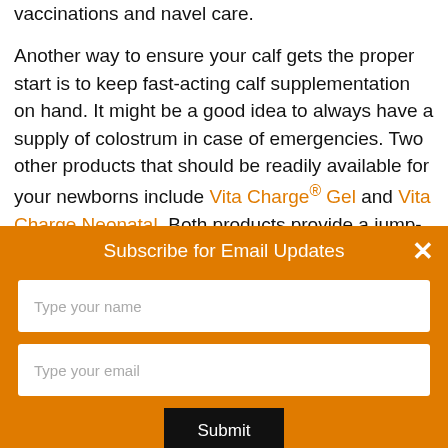vaccinations and navel care.
Another way to ensure your calf gets the proper start is to keep fast-acting calf supplementation on hand. It might be a good idea to always have a supply of colostrum in case of emergencies. Two other products that should be readily available for your newborns include Vita Charge® Gel and Vita Charge Neonatal. Both products provide a jump-start to the digestive
Subscribe for Email Updates
Type your name
Type your email
Submit